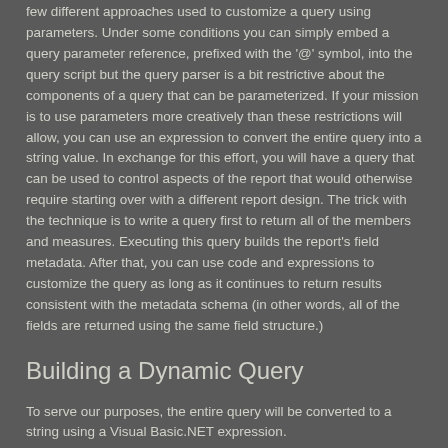few different approaches used to customize a query using parameters. Under some conditions you can simply embed a query parameter reference, prefixed with the '@' symbol, into the query script but the query parser is a bit restrictive about the components of a query that can be parameterized. If your mission is to use parameters more creatively than these restrictions will allow, you can use an expression to convert the entire query into a string value. In exchange for this effort, you will have a query that can be used to control aspects of the report that would otherwise require starting over with a different report design. The trick with the technique is to write a query first to return all of the members and measures. Executing this query builds the report's field metadata. After that, you can use code and expressions to customize the query as long as it continues to return results consistent with the metadata schema (in other words, all of the fields are returned using the same field structure.)
Building a Dynamic Query
To serve our purposes, the entire query will be converted to a string using a Visual Basic.NET expression.